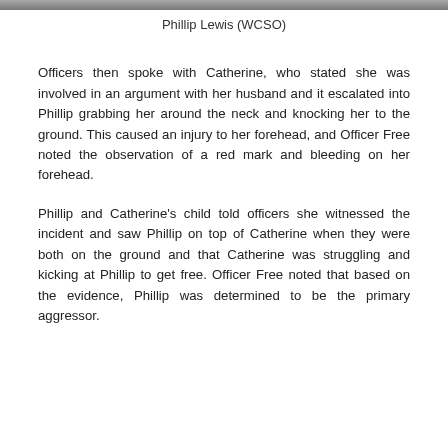[Figure (photo): Partial photo of Phillip Lewis at the top of the page, cropped at the bottom.]
Phillip Lewis (WCSO)
Officers then spoke with Catherine, who stated she was involved in an argument with her husband and it escalated into Phillip grabbing her around the neck and knocking her to the ground. This caused an injury to her forehead, and Officer Free noted the observation of a red mark and bleeding on her forehead.
Phillip and Catherine's child told officers she witnessed the incident and saw Phillip on top of Catherine when they were both on the ground and that Catherine was struggling and kicking at Phillip to get free. Officer Free noted that based on the evidence, Phillip was determined to be the primary aggressor.